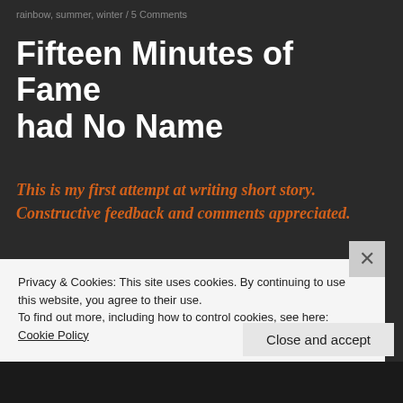rainbow, summer, winter / 5 Comments
Fifteen Minutes of Fame had No Name
This is my first attempt at writing short story. Constructive feedback and comments appreciated.
The dream keeps coming back to haunt him. Digging a hole, he lies down peacefully waiting
Privacy & Cookies: This site uses cookies. By continuing to use this website, you agree to their use.
To find out more, including how to control cookies, see here: Cookie Policy
Close and accept